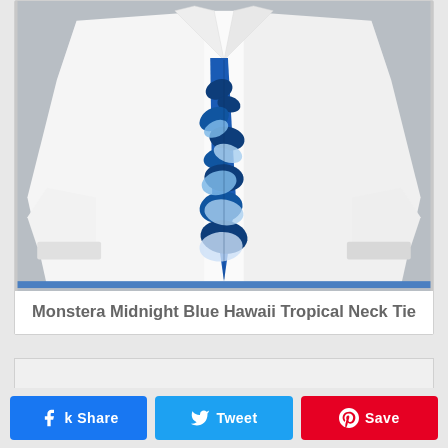[Figure (photo): Product photo of a white folded dress shirt with a blue tropical Monstera leaf pattern neck tie displayed on a gray background]
Monstera Midnight Blue Hawaii Tropical Neck Tie
[Figure (infographic): Social media share buttons: Facebook (blue), Twitter (light blue), Pinterest (red) with icons]